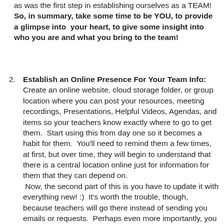as was the first step in establishing ourselves as a TEAM! So, in summary, take some time to be YOU, to provide a glimpse into your heart, to give some insight into who you are and what you bring to the team!
2. Establish an Online Presence For Your Team Info: Create an online website, cloud storage folder, or group location where you can post your resources, meeting recordings, Presentations, Helpful Videos, Agendas, and items so your teachers know exactly where to go to get them.  Start using this from day one so it becomes a habit for them.  You'll need to remind them a few times, at first, but over time, they will begin to understand that there is a central location online just for information for them that they can depend on.  Now, the second part of this is you have to update it with everything new! :)  It's worth the trouble, though, because teachers will go there instead of sending you emails or requests.  Perhaps even more importantly, you are modeling the method and it will result in implementation by others that continues to benefit everyone, including students.  Note:  Be sure you find and communicate or associate with your area location